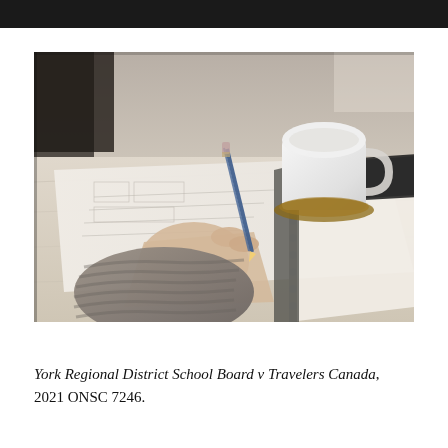[Figure (photo): Close-up photograph of a person wearing a grey knitted sweater sleeve, holding a blue pencil and writing on paper documents laid on a wooden table. A white ceramic mug on a coaster and a notebook or tablet are visible in the background.]
York Regional District School Board v Travelers Canada, 2021 ONSC 7246.